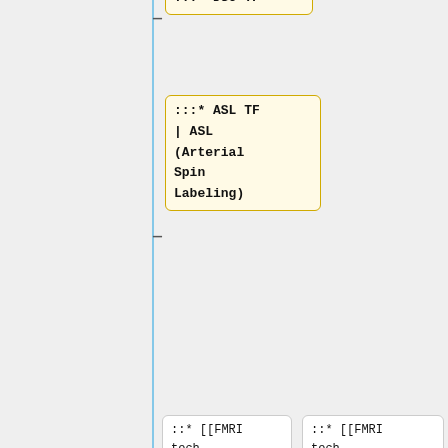:::* DSC TF
:::* ASL TF | ASL (Arterial Spin Labeling)
::* [[FMRI tech ctte|fMRI Biomarker Committee]]
::* [[FMRI tech ctte|fMRI Biomarker Committee]]
::* [[MRE_Biomarker_Ctte|MR Elastography Biomarker Committee]]
::* [[MRE_Biomarker_Ctte|MR Elastography Biomarker Committee]]
::* [[PDFF
::* [[PDFF